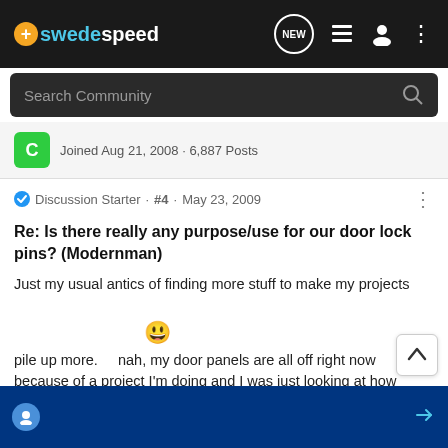[Figure (screenshot): Swedespeed forum website header with logo, search bar, and navigation icons]
Joined Aug 21, 2008 · 6,887 Posts
Discussion Starter · #4 · May 23, 2009
Re: Is there really any purpose/use for our door lock pins? (Modernman)
Just my usual antics of finding more stuff to make my projects pile up more. 😊 nah, my door panels are all off right now because of a project I'm doing and I was just looking at how much room on each side is really empty space used up by the panels: they don't have to be that wide. I was thinking that somebo...g like that was...t me